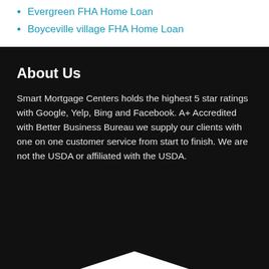Evergreen FHA Home Loan
Boyceville village FHA Home Loan
About Us
Smart Mortgage Centers holds the highest 5 star ratings with Google, Yelp, Bing and Facebook. A+ Accredited with Better Business Bureau we supply our clients with one on one customer service from start to finish. We are not the USDA or affiliated with the USDA.
[Figure (logo): Google Maps style icon with upward arrow and Privacy/Terms text]